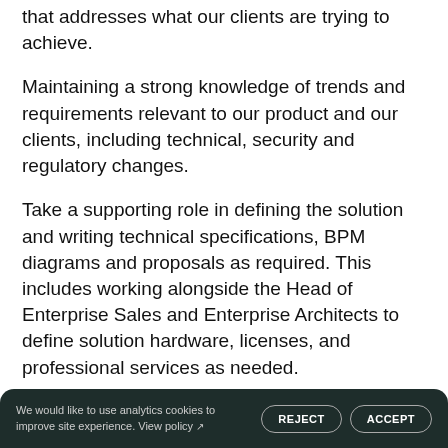that addresses what our clients are trying to achieve.
Maintaining a strong knowledge of trends and requirements relevant to our product and our clients, including technical, security and regulatory changes.
Take a supporting role in defining the solution and writing technical specifications, BPM diagrams and proposals as required. This includes working alongside the Head of Enterprise Sales and Enterprise Architects to define solution hardware, licenses, and professional services as needed.
1  Solution Delivery
Cre do explanations.